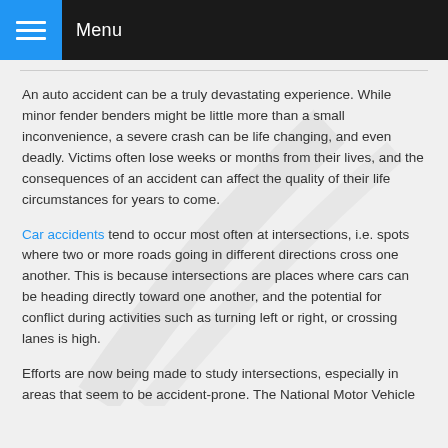Menu
An auto accident can be a truly devastating experience. While minor fender benders might be little more than a small inconvenience, a severe crash can be life changing, and even deadly. Victims often lose weeks or months from their lives, and the consequences of an accident can affect the quality of their life circumstances for years to come.
Car accidents tend to occur most often at intersections, i.e. spots where two or more roads going in different directions cross one another. This is because intersections are places where cars can be heading directly toward one another, and the potential for conflict during activities such as turning left or right, or crossing lanes is high.
Efforts are now being made to study intersections, especially in areas that seem to be accident-prone. The National Motor Vehicle